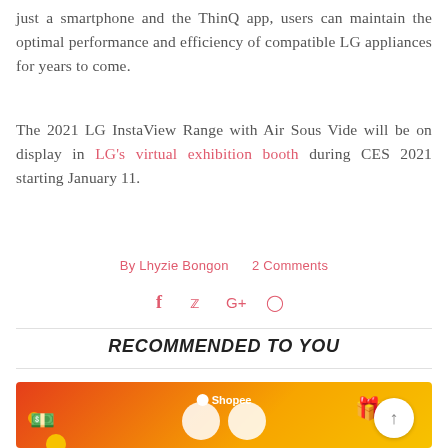just a smartphone and the ThinQ app, users can maintain the optimal performance and efficiency of compatible LG appliances for years to come.
The 2021 LG InstaView Range with Air Sous Vide will be on display in LG's virtual exhibition booth during CES 2021 starting January 11.
By Lhyzie Bongon   2 Comments
[Figure (infographic): Social media sharing icons: Facebook (f), Twitter (bird), Google+, Pinterest (P) in pink/coral color]
RECOMMENDED TO YOU
[Figure (photo): Shopee promotional banner with orange/red gradient background, Shopee logo at top center, two white circles at bottom center, decorative gift box and orange dot elements, back-to-top arrow button at bottom right]